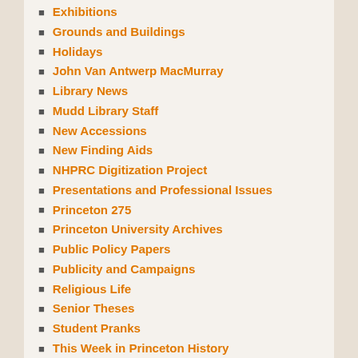Exhibitions
Grounds and Buildings
Holidays
John Van Antwerp MacMurray
Library News
Mudd Library Staff
New Accessions
New Finding Aids
NHPRC Digitization Project
Presentations and Professional Issues
Princeton 275
Princeton University Archives
Public Policy Papers
Publicity and Campaigns
Religious Life
Senior Theses
Student Pranks
This Week in Princeton History
Uncategorized
RECENT POSTS
This Week in Princeton History...